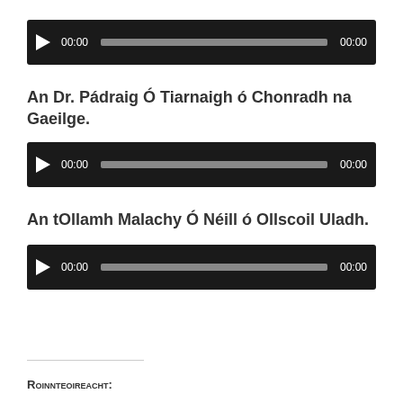[Figure (other): Audio player widget with play button, progress bar, and time display showing 00:00]
An Dr. Pádraig Ó Tiarnaigh ó Chonradh na Gaeilge.
[Figure (other): Audio player widget with play button, progress bar, and time display showing 00:00]
An tOllamh Malachy Ó Néill ó Ollscoil Uladh.
[Figure (other): Audio player widget with play button, progress bar, and time display showing 00:00]
Roinnteoireacht: